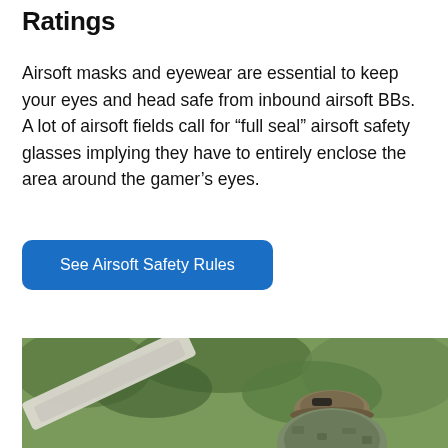Ratings
Airsoft masks and eyewear are essential to keep your eyes and head safe from inbound airsoft BBs. A lot of airsoft fields call for “full seal” airsoft safety glasses implying they have to entirely enclose the area around the gamer’s eyes.
See Airsoft Safety Rules
[Figure (photo): Outdoor photo of a person wearing camouflage gear and a cap with goggles, holding an airsoft rifle, with green foliage in the background.]